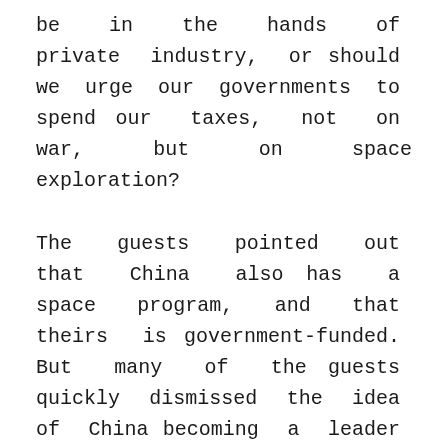be in the hands of private industry, or should we urge our governments to spend our taxes, not on war, but on space exploration?
The guests pointed out that China also has a space program, and that theirs is government-funded. But many of the guests quickly dismissed the idea of China becoming a leader in the space industry. Diversity, the guests said, is what really propels the innovation that makes space travel possible. Countries like the US welcome brilliant minds from around the world to lend a hand in the space effort,